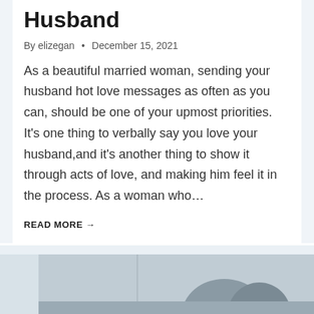Husband
By elizegan  •  December 15, 2021
As a beautiful married woman, sending your husband hot love messages as often as you can, should be one of your upmost priorities. It's one thing to verbally say you love your husband,and it's another thing to show it through acts of love, and making him feel it in the process. As a woman who…
READ MORE →
[Figure (photo): Partial view of a couple or people in a domestic setting, photo cropped at bottom of page]